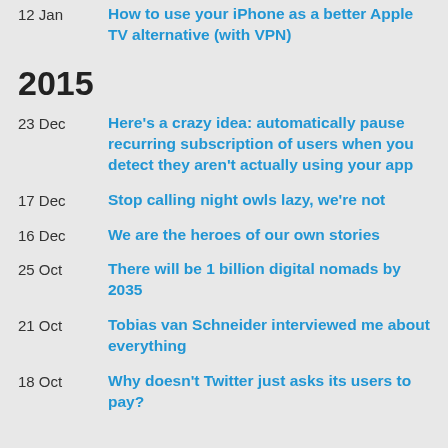12 Jan — How to use your iPhone as a better Apple TV alternative (with VPN)
2015
23 Dec — Here's a crazy idea: automatically pause recurring subscription of users when you detect they aren't actually using your app
17 Dec — Stop calling night owls lazy, we're not
16 Dec — We are the heroes of our own stories
25 Oct — There will be 1 billion digital nomads by 2035
21 Oct — Tobias van Schneider interviewed me about everything
18 Oct — Why doesn't Twitter just asks its users to pay?